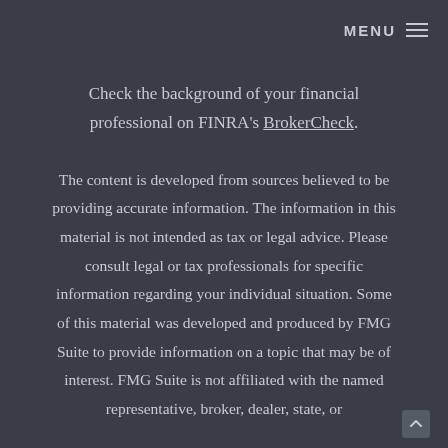MENU ☰
Check the background of your financial professional on FINRA's BrokerCheck.
The content is developed from sources believed to be providing accurate information. The information in this material is not intended as tax or legal advice. Please consult legal or tax professionals for specific information regarding your individual situation. Some of this material was developed and produced by FMG Suite to provide information on a topic that may be of interest. FMG Suite is not affiliated with the named representative, broker, dealer, state, or